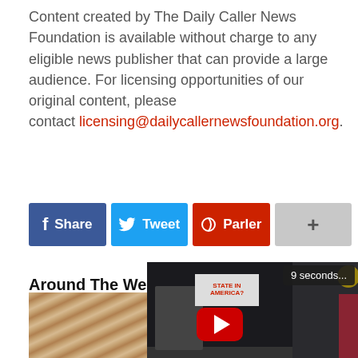Content created by The Daily Caller News Foundation is available without charge to any eligible news publisher that can provide a large audience. For licensing opportunities of our original content, please contact licensing@dailycallernewsfoundation.org.
[Figure (screenshot): Social sharing buttons: Facebook Share (blue), Twitter Tweet (light blue), Parler (red), and a plus/more button (grey)]
Around The Web
[Figure (screenshot): Timer badge showing '9 seconds...' and a YouTube video thumbnail showing a man at a desk with political props, a red play button overlay, and a partial wood-grain image on the left]